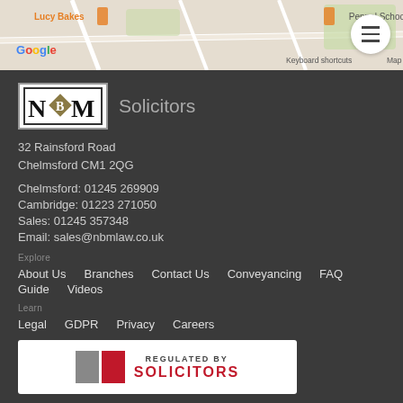[Figure (screenshot): Google Maps strip showing partial map with Lucy Bakes, Pennol School labels and Google branding, keyboard shortcuts notice, map data copyright 2022]
[Figure (logo): NBM Solicitors logo — block letters N, diamond, M on white background with 'Solicitors' text]
32 Rainsford Road
Chelmsford CM1 2QG
Chelmsford: 01245 269909
Cambridge: 01223 271050
Sales: 01245 357348
Email: sales@nbmlaw.co.uk
Explore
About Us
Branches
Contact Us
Conveyancing
FAQ
Guide
Videos
Learn
Legal
GDPR
Privacy
Careers
[Figure (logo): Regulated by Solicitors Regulation Authority badge — partially visible at bottom]